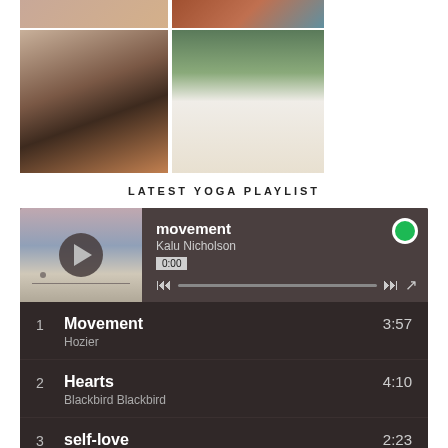[Figure (photo): Four-photo grid: top row shows two partial cropped photos (warm tones), bottom row shows a woman holding a small dog in a black outfit with rust cardigan, and two women in wedding attire holding bouquets]
LATEST YOGA PLAYLIST
[Figure (screenshot): Spotify music player widget showing 'movement' by Kalu Nicholson at 0:00, with play button, progress bar, skip and share controls]
1  Movement  3:57
Hozier
2  Hearts  4:10
Blackbird Blackbird
3  self-love  2:23
San Holo